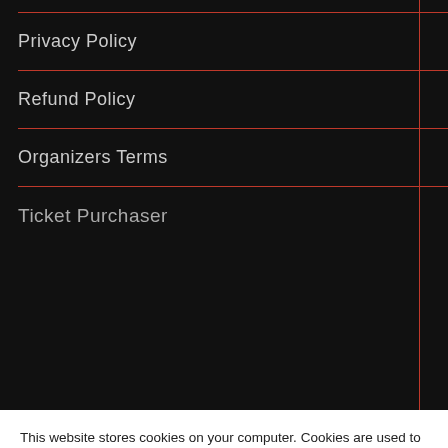[Figure (screenshot): Navigation menu on dark background with red divider lines showing Privacy Policy, Refund Policy, Organizers Terms, and partially visible Ticket Purchaser items]
This website stores cookies on your computer. Cookies are used to collect information about how you interact with our website and allow us to remember you. We use this information in order to improve and customize your browsing experience and for analytics and metrics about our visitors both on this website and other media. To find out more about the cookies we use, see our Privacy Policy.
If you decline, your information won't be tracked when you visit this website. A single cookie will be used in your browser to remember your preference not to be tracked.
Accept
Decline